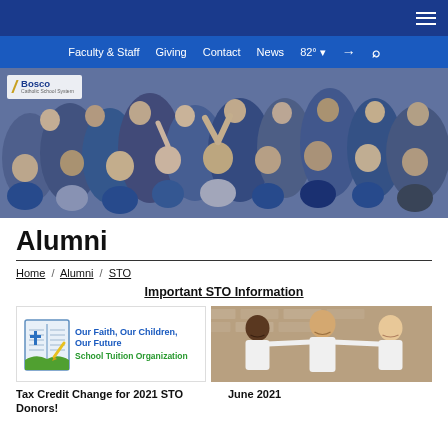Faculty & Staff  Giving  Contact  News  82°  Login  Search
[Figure (photo): Crowd of people cheering at a Bosco Catholic school event, wearing blue and white colors, with fists raised]
Alumni
Home / Alumni / STO
Important STO Information
[Figure (logo): Our Faith, Our Children, Our Future - School Tuition Organization logo with open book and cross icon]
[Figure (photo): Three school boys in white polo shirts smiling at camera against brick wall background]
Tax Credit Change for 2021 STO Donors!
June 2021